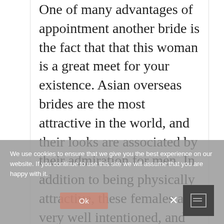One of many advantages of appointment another bride is the fact that that this woman is a great meet for your existence. Asian overseas brides are the most attractive in the world, and their looks are associated by their admiration for men. In addition to being physically attractive, these females are very well intentioned, and may expect you to help make the first head out. The best thing to not overlook about going out with a Japanese people
We use cookies to ensure that we give you the best experience on our website. If you continue to use this site we will assume that you are happy with it.